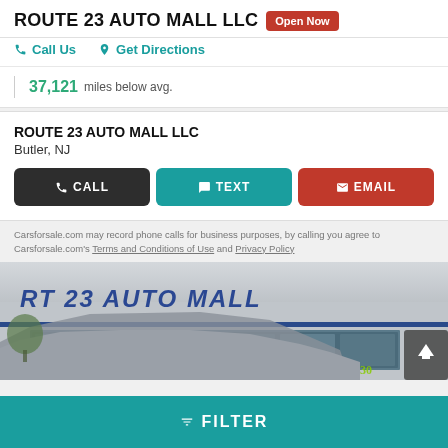ROUTE 23 AUTO MALL LLC  Open Now
Call Us   Get Directions
37,121 miles below avg.
ROUTE 23 AUTO MALL LLC
Butler, NJ
CALL  TEXT  EMAIL
Carsforsale.com may record phone calls for business purposes, by calling you agree to Carsforsale.com's Terms and Conditions of Use and Privacy Policy
[Figure (photo): Exterior photo of RT 23 AUTO MALL dealership building with blue lettering sign and a car in front, phone number 866-838-0800 visible on window]
FILTER